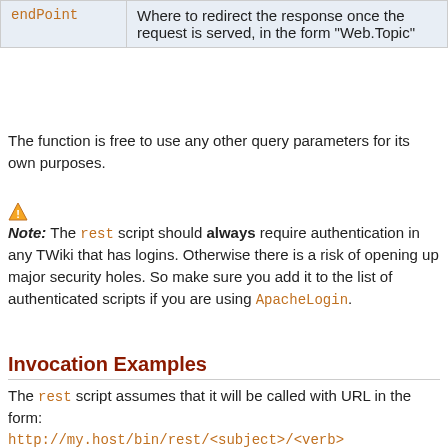| Parameter | Description |
| --- | --- |
| endPoint | Where to redirect the response once the request is served, in the form "Web.Topic" |
The function is free to use any other query parameters for its own purposes.
⚠ Note: The rest script should always require authentication in any TWiki that has logins. Otherwise there is a risk of opening up major security holes. So make sure you add it to the list of authenticated scripts if you are using ApacheLogin.
Invocation Examples
The rest script assumes that it will be called with URL in the form:
http://my.host/bin/rest/<subject>/<verb>